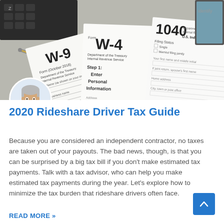[Figure (photo): Hero image showing overlapping US tax forms W-9, W-4, and 1040 on a desk with a pen, photographed from above]
[Figure (photo): Circular avatar portrait photo of a middle-aged man with gray hair wearing a white shirt, smiling]
2020 Rideshare Driver Tax Guide
Because you are considered an independent contractor, no taxes are taken out of your payouts. The bad news, though, is that you can be surprised by a big tax bill if you don't make estimated tax payments. Talk with a tax advisor, who can help you make estimated tax payments during the year. Let's explore how to minimize the tax burden that rideshare drivers often face.
READ MORE »